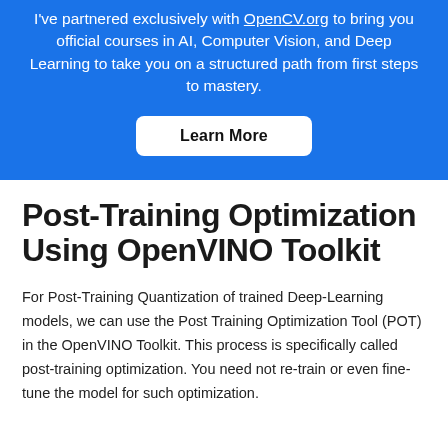I've partnered exclusively with OpenCV.org to bring you official courses in AI, Computer Vision, and Deep Learning to take you on a structured path from first steps to mastery.
Learn More
Post-Training Optimization Using OpenVINO Toolkit
For Post-Training Quantization of trained Deep-Learning models, we can use the Post Training Optimization Tool (POT) in the OpenVINO Toolkit. This process is specifically called post-training optimization. You need not re-train or even fine-tune the model for such optimization.